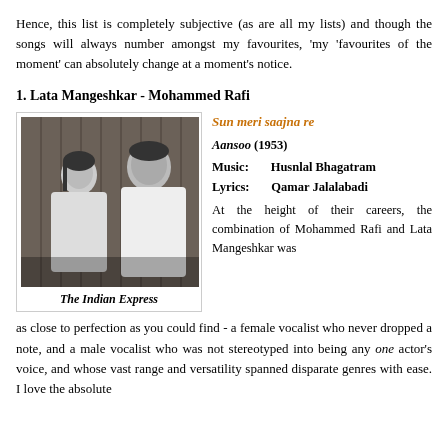Hence, this list is completely subjective (as are all my lists) and though the songs will always number amongst my favourites, 'my 'favourites of the moment' can absolutely change at a moment's notice.
1. Lata Mangeshkar - Mohammed Rafi
[Figure (photo): Black and white photograph of Lata Mangeshkar and Mohammed Rafi sitting together, published in The Indian Express]
The Indian Express
Sun meri saajna re
Aansoo (1953)
Music: Husnlal Bhagatram
Lyrics: Qamar Jalalabadi
At the height of their careers, the combination of Mohammed Rafi and Lata Mangeshkar was as close to perfection as you could find - a female vocalist who never dropped a note, and a male vocalist who was not stereotyped into being any one actor's voice, and whose vast range and versatility spanned disparate genres with ease. I love the absolute